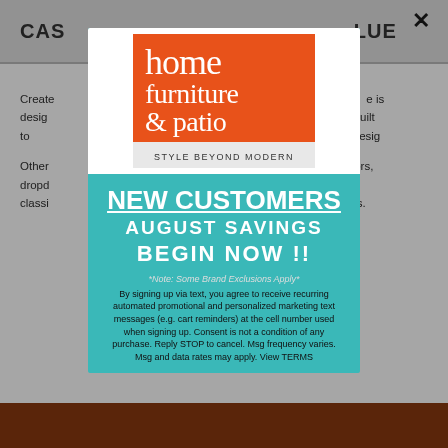CAS... LUE
Create... from our wi... le is desig... s and built to... MDF and ch... ffice desig...
Other... r desks,... ors, dropd... omic execu... in classi... h or withou... liners.
[Figure (logo): Home Furniture & Patio logo. Orange square with white text: 'home furniture & patio', and tagline 'STYLE BEYOND MODERN' in grey bar below.]
NEW CUSTOMERS
AUGUST SAVINGS
BEGIN NOW !!
*Note: Some Brand Exclusions Apply*
By signing up via text, you agree to receive recurring automated promotional and personalized marketing text messages (e.g. cart reminders) at the cell number used when signing up. Consent is not a condition of any purchase. Reply STOP to cancel. Msg frequency varies. Msg and data rates may apply. View TERMS